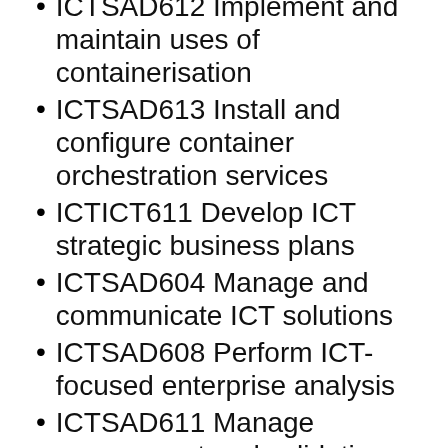ICTSAD612 Implement and maintain uses of containerisation
ICTSAD613 Install and configure container orchestration services
ICTICT611 Develop ICT strategic business plans
ICTSAD604 Manage and communicate ICT solutions
ICTSAD608 Perform ICT-focused enterprise analysis
ICTSAD611 Manage assessment and validation of ICT solutions
ICTNWK544 Design and implement a security perimeter for ICT networks
ICTNWK619 Plan, configure and test